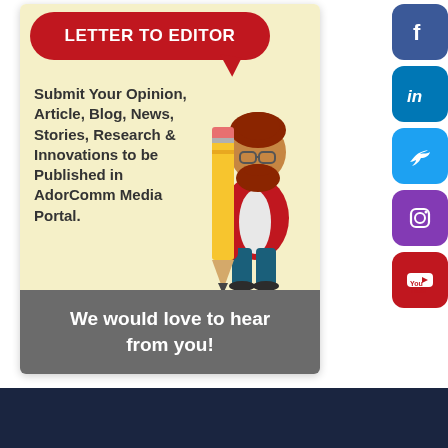[Figure (illustration): Letter to Editor ad card with illustrated man holding giant pencil, speech bubble title, body text, and grey bottom bar. Social media buttons (Facebook, LinkedIn, Twitter, Instagram, YouTube) on the right side. Dark navy footer bar at bottom.]
LETTER TO EDITOR
Submit Your Opinion, Article, Blog, News, Stories, Research & Innovations to be Published in AdorComm Media Portal.
We would love to hear from you!